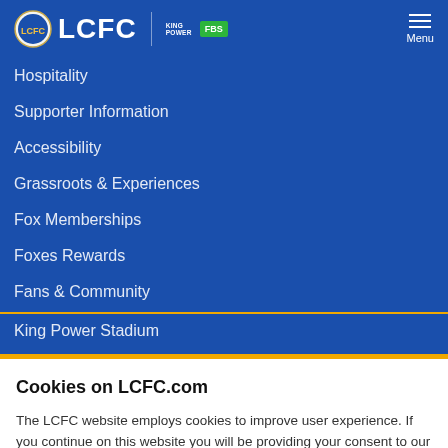[Figure (logo): LCFC logo with Leicester City crest, LCFC text, King Power and FBS sponsor logos, and hamburger menu with 'Menu' label on blue header]
Hospitality
Supporter Information
Accessibility
Grassroots & Experiences
Fox Memberships
Foxes Rewards
Fans & Community
King Power Stadium
Cookies on LCFC.com
The LCFC website employs cookies to improve user experience. If you continue on this website you will be providing your consent to our use of cookies. Find out more
CONTINUE →